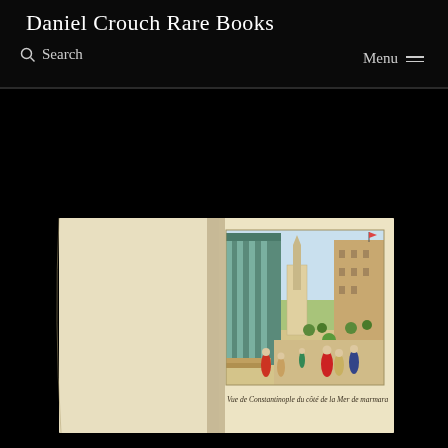Daniel Crouch Rare Books
Search
Menu
[Figure (photo): Open book showing a hand-colored engraving of a view of Constantinople from the Sea of Marmara, with architectural elements including columns on the left, a street scene with figures in Ottoman dress, trees, and buildings in the background. Caption reads: Vue de Constantinople du côté de la Mer de marmara]